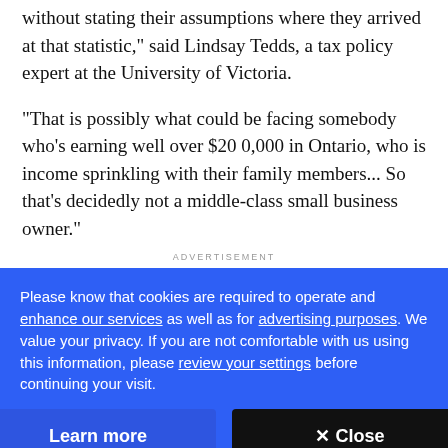without stating their assumptions where they arrived at that statistic," said Lindsay Tedds, a tax policy expert at the University of Victoria.
"That is possibly what could be facing somebody who's earning well over $20 0,000 in Ontario, who is income sprinkling with their family members... So that's decidedly not a middle-class small business owner."
ADVERTISEMENT
Please know that cookies are required to operate and enhance our services as well as for advertising purposes. We value your privacy. If you are not comfortable with us using this information, please review your settings before continuing your visit.